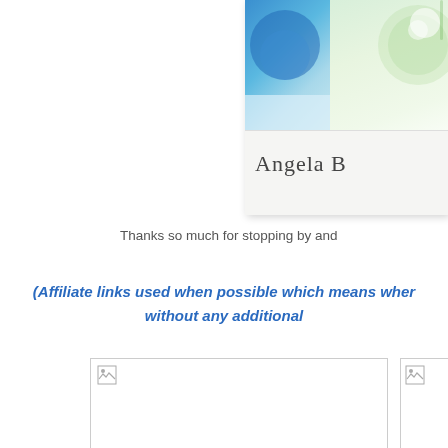[Figure (photo): Partial view of a card/stationery product with floral design and the partial name 'Angela B' visible, cropped at the right edge. Blue floral imagery on left, light green floral design on right card.]
Thanks so much for stopping by and
(Affiliate links used when possible which means wher without any additional
[Figure (photo): Broken image placeholder - small image icon in upper left of a large white rectangle with border]
[Figure (photo): Broken image placeholder - small image icon, partial view on right edge]